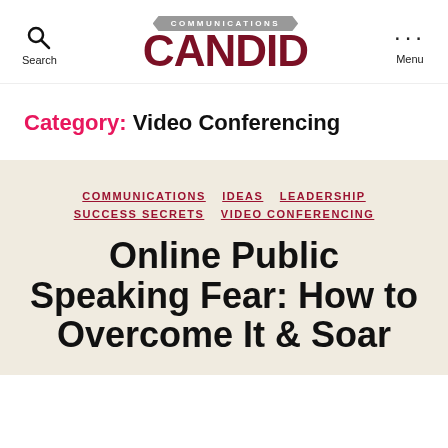Candid Communications — Search | Menu
Category: Video Conferencing
COMMUNICATIONS  IDEAS  LEADERSHIP  SUCCESS SECRETS  VIDEO CONFERENCING
Online Public Speaking Fear: How to Overcome It & Soar